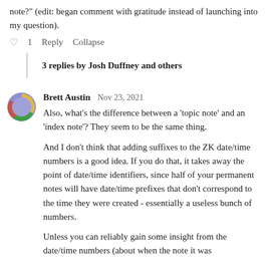note?" (edit: began comment with gratitude instead of launching into my question).
♡ 1   Reply   Collapse
3 replies by Josh Duffney and others
Brett Austin   Nov 23, 2021
Also, what's the difference between a 'topic note' and an 'index note'? They seem to be the same thing.
And I don't think that adding suffixes to the ZK date/time numbers is a good idea. If you do that, it takes away the point of date/time identifiers, since half of your permanent notes will have date/time prefixes that don't correspond to the time they were created - essentially a useless bunch of numbers.
Unless you can reliably gain some insight from the date/time numbers (about when the note it was